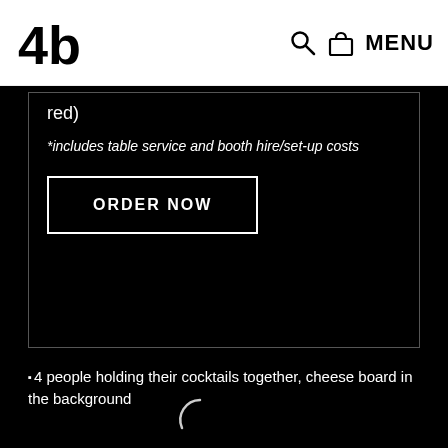Logo (ub) | Search icon | Bag icon | MENU
red)
*includes table service and booth hire/set-up costs
ORDER NOW
[Figure (photo): 4 people holding their cocktails together, cheese board in the background — image loading (spinner visible)]